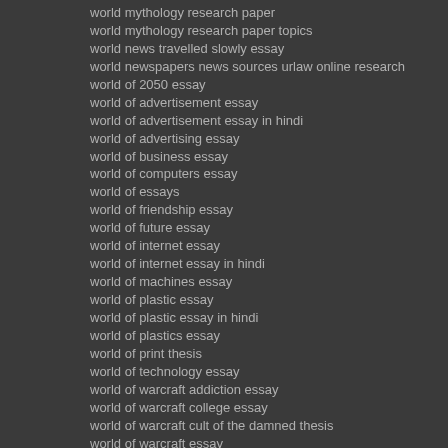world mythology research paper
world mythology research paper topics
world news travelled slowly essay
world newspapers news sources urlaw online research
world of 2050 essay
world of advertisement essay
world of advertisement essay in hindi
world of advertising essay
world of business essay
world of computers essay
world of essays
world of friendship essay
world of future essay
world of internet essay
world of internet essay in hindi
world of machines essay
world of plastic essay
world of plastic essay in hindi
world of plastics essay
world of print thesis
world of technology essay
world of warcraft addiction essay
world of warcraft college essay
world of warcraft cult of the damned thesis
world of warcraft essay
world of warcraft essay topics
world of warcraft essayer
world of warcraft essayer gratuitement
world of warcraft how to write an add on
world of warcraft math homework